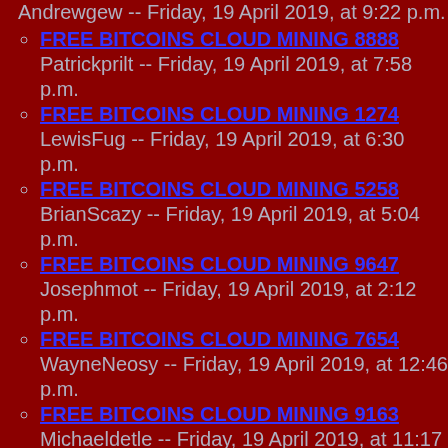Andrewgew -- Friday, 19 April 2019, at 9:22 p.m.
FREE BITCOINS CLOUD MINING 8888
Patrickprilt -- Friday, 19 April 2019, at 7:58 p.m.
FREE BITCOINS CLOUD MINING 1274
LewisFug -- Friday, 19 April 2019, at 6:30 p.m.
FREE BITCOINS CLOUD MINING 5258
BrianScazy -- Friday, 19 April 2019, at 5:04 p.m.
FREE BITCOINS CLOUD MINING 9647
Josephmot -- Friday, 19 April 2019, at 2:12 p.m.
FREE BITCOINS CLOUD MINING 7654
WayneNeosy -- Friday, 19 April 2019, at 12:46 p.m.
FREE BITCOINS CLOUD MINING 9163
Michaeldetle -- Friday, 19 April 2019, at 11:17 a.m.
FREE BITCOINS CLOUD MINING 3194
JamesNib -- Friday, 19 April 2019, at 9:48 a.m.
FREE BITCOINS CLOUD MINING 8453
Rodneyrib -- Friday, 19 April 2019, at 6:58 a.m.
FREE BITCOINS CLOUD MINING 5478
PhilipTrumE -- Friday, 19 April 2019, at 2:33 a.m.
FREE BITCOINS CLOUD MINING 5266
Danielsteni -- Friday, 19 April 2019, at 1:07 a.m.
FREE BITCOINS CLOUD MINING 1646
Williamtix -- Thursday, 18 April 2019, at 11:42